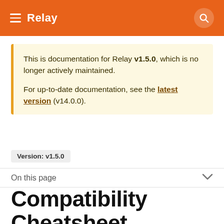Relay
This is documentation for Relay v1.5.0, which is no longer actively maintained.

For up-to-date documentation, see the latest version (v14.0.0).
Version: v1.5.0
On this page
Compatibility Cheatsheet